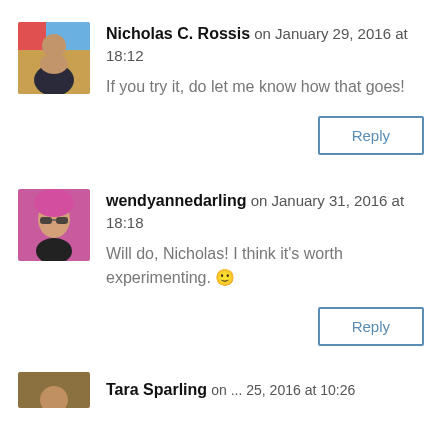[Figure (photo): Avatar photo of Nicholas C. Rossis, a man wearing dark clothes against a colorful background]
Nicholas C. Rossis on January 29, 2016 at 18:12
If you try it, do let me know how that goes!
Reply
[Figure (photo): Avatar photo of wendyannedarling, a woman with a pink headwrap and sunglasses]
wendyannedarling on January 31, 2016 at 18:18
Will do, Nicholas! I think it's worth experimenting. 🙂
Reply
[Figure (photo): Partial avatar photo of Tara Sparling]
Tara Sparling on ... 25, 2016 at 10:26